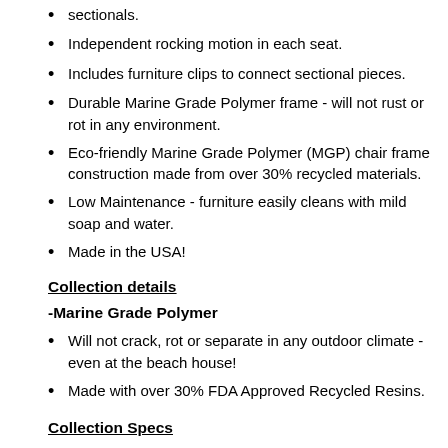sectionals.
Independent rocking motion in each seat.
Includes furniture clips to connect sectional pieces.
Durable Marine Grade Polymer frame - will not rust or rot in any environment.
Eco-friendly Marine Grade Polymer (MGP) chair frame construction made from over 30% recycled materials.
Low Maintenance - furniture easily cleans with mild soap and water.
Made in the USA!
Collection details
-Marine Grade Polymer
Will not crack, rot or separate in any outdoor climate - even at the beach house!
Made with over 30% FDA Approved Recycled Resins.
Collection Specs